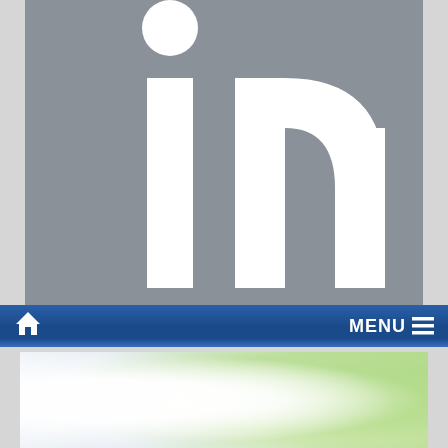[Figure (logo): LinkedIn logo — white 'in' letters on a gray (#8a9199) square background, shown cropped large]
[Figure (screenshot): Dark blue navigation bar with a home icon on the left and 'MENU ≡' text on the right]
[Figure (photo): Partial bottom image showing a bright, blurred outdoor scene with white bokeh on the left and green foliage bokeh on the right]